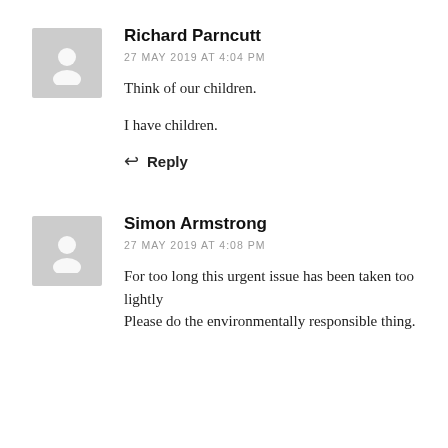Richard Parncutt
27 MAY 2019 AT 4:04 PM
Think of our children.
I have children.
Reply
Simon Armstrong
27 MAY 2019 AT 4:08 PM
For too long this urgent issue has been taken too lightly
Please do the environmentally responsible thing.